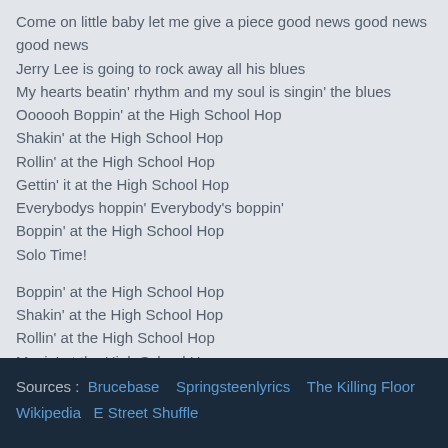Come on little baby let me give a piece good news good news good news
Jerry Lee is going to rock away all his blues
My hearts beatin' rhythm and my soul is singin' the blues
Oooooh Boppin' at the High School Hop
Shakin' at the High School Hop
Rollin' at the High School Hop
Gettin' it at the High School Hop
Everybodys hoppin' Everybody's boppin'
Boppin' at the High School Hop
Solo Time!

Boppin' at the High School Hop
Shakin' at the High School Hop
Rollin' at the High School Hop
Movin' at the High School Hop
Well everybody's hoppin' Everybody's boppin'
Boppin' at the High School Hop
Sources : Brucebase   Springsteenlyrics   The Killing Floor  Wikipedia  E Street Shuffle